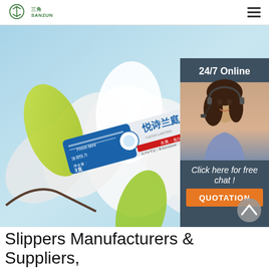三角 SANZUN (logo) | hamburger menu
[Figure (photo): Hero banner image showing a toothpaste tube product (Chinese brand, Fresh Mint, 悦诗兰庭) placed on white flower petals against a light blue background. Includes a chat widget overlay on the right side with '24/7 Online', a customer service representative photo, 'Click here for free chat!' text, and an orange 'QUOTATION' button. A grey scroll-up arrow button appears at bottom right.]
Slippers Manufacturers & Suppliers,